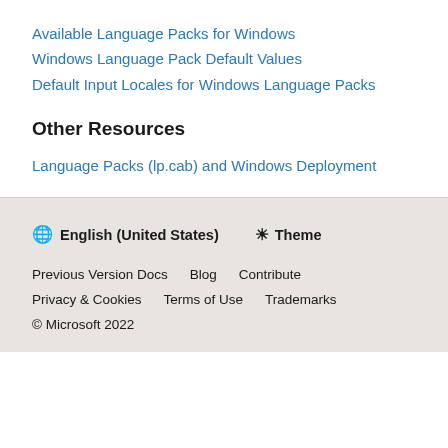Available Language Packs for Windows
Windows Language Pack Default Values
Default Input Locales for Windows Language Packs
Other Resources
Language Packs (lp.cab) and Windows Deployment
English (United States)  Theme  Previous Version Docs  Blog  Contribute  Privacy & Cookies  Terms of Use  Trademarks  © Microsoft 2022